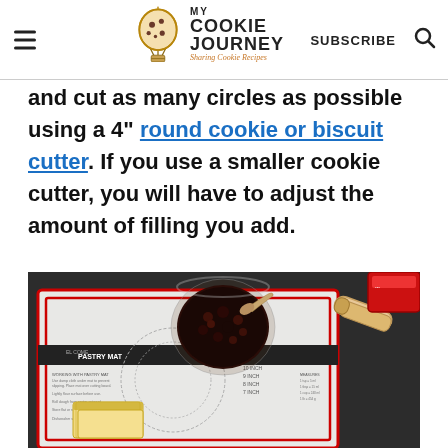MY COOKIE JOURNEY — Sharing Cookie Recipes | SUBSCRIBE
and cut as many circles as possible using a 4" round cookie or biscuit cutter. If you use a smaller cookie cutter, you will have to adjust the amount of filling you add.
[Figure (photo): Top-down photo of a baking pastry mat on a dark countertop, with a glass bowl of dark cherry filling with a spoon, a wooden rolling pin, two blocks of butter, and a red container in the corner.]